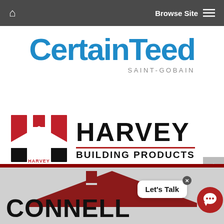Browse Site
[Figure (logo): CertainTeed Saint-Gobain logo — large blue bold CertainTeed wordmark with SAINT-GOBAIN subtitle in gray]
[Figure (logo): Harvey Building Products logo — red/black H icon on left, HARVEY BUILDING PRODUCTS bold black text on right with red underline]
[Figure (logo): Connell logo — red house/roof illustration above large bold CONNELL text, on gray background with dark red top stripe]
Let's Talk